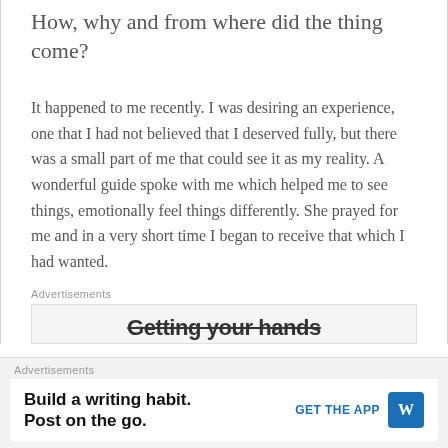How, why and from where did the thing come?
It happened to me recently. I was desiring an experience, one that I had not believed that I deserved fully, but there was a small part of me that could see it as my reality. A wonderful guide spoke with me which helped me to see things, emotionally feel things differently. She prayed for me and in a very short time I began to receive that which I had wanted.
Advertisements
[Figure (screenshot): Partial advertisement banner showing bold text, partially cut off]
Advertisements
[Figure (screenshot): WordPress mobile app advertisement: Build a writing habit. Post on the go. GET THE APP with WordPress logo]